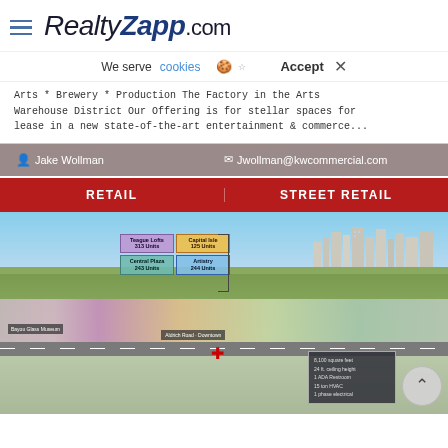RealtyZapp.com
We serve cookies  Accept ×
Arts * Brewery * Production The Factory in the Arts Warehouse District Our Offering is for stellar spaces for lease in a new state-of-the-art entertainment & commerce...
Jake Wollman   Jwollman@kwcommercial.com
RETAIL   STREET RETAIL
[Figure (photo): Aerial photograph of urban development showing mixed-use buildings with labeled units including Teague Lofts 313 Units, Capital Isle 125 Units, Central Plaza 243 Units, Artistry 244 Units. Image includes info box with building specs: 8,100 square feet, 24 ft ceiling height, 1 ADA Restroom, 15 ton HVAC, 1 phase electrical. Red location marker visible. Museum label at bottom left.]